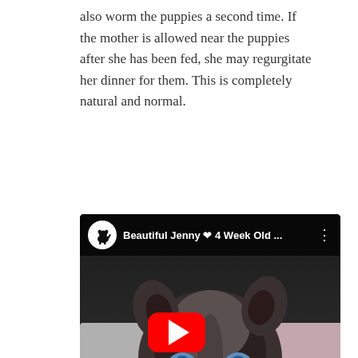also worm the puppies a second time. If the mother is allowed near the puppies after she has been fed, she may regurgitate her dinner for them. This is completely natural and normal.
[Figure (screenshot): Embedded YouTube video thumbnail showing a 4-week-old husky puppy with blue eyes lying on a patterned blanket. The video title reads 'Beautiful Jenny ❤ 4 Week Old ...' with a YouTube play button overlay. A channel icon showing a black dog silhouette is visible in the top-left corner of the video player.]